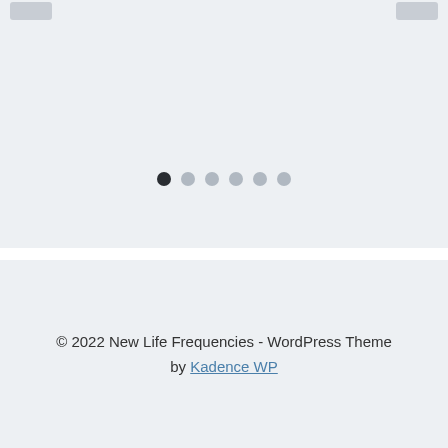[Figure (other): Slideshow/carousel area with light gray background, two navigation buttons at the top corners, and six pagination dots centered near the bottom. The first dot is dark/active, the remaining five are gray/inactive.]
© 2022 New Life Frequencies - WordPress Theme by Kadence WP